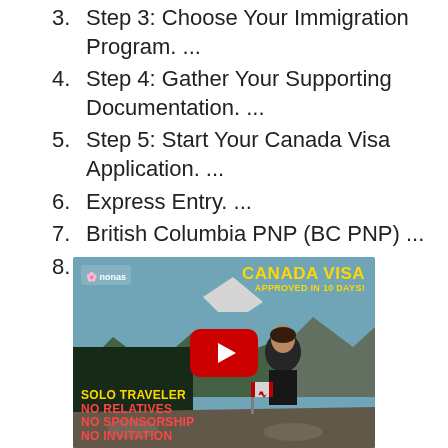3. Step 3: Choose Your Immigration Program. ...
4. Step 4: Gather Your Supporting Documentation. ...
5. Step 5: Start Your Canada Visa Application. ...
6. Express Entry. ...
7. British Columbia PNP (BC PNP) ...
8. Home Care Provider Pilots.
[Figure (screenshot): YouTube video thumbnail showing a woman standing in a Canadian mountain landscape with a Canadian flag, with text overlays reading 'CANADA VISA APPROVED IN 10 DAYS!', 'SOLO TRAVELER', 'NO RELATIVES', 'NO SPONSORSHIP', 'NO INVITATION'. A YouTube play button is centered on the thumbnail.]